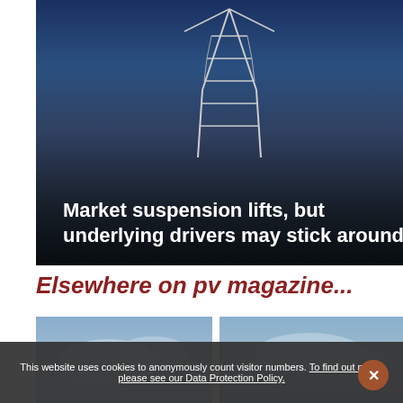[Figure (photo): Power transmission tower against a dark blue sky, with overlaid article headline text]
Market suspension lifts, but underlying drivers may stick around
Elsewhere on pv magazine...
[Figure (photo): Cloudy sky over urban buildings, with overlaid headline about NTPC tender for solar and battery storage]
NTPC launches tender for 1.15 GW solar, 150 MW/150 MWh battery storage in Cuba
PV-MAGAZINE-INDIA.COM
[Figure (photo): Aerial view of green landscape with water, with overlaid headline about Tata Power hybrid project]
Tata Power switches on 225 MW hybrid project
PV-MAGAZINE-INDIA.COM
This website uses cookies to anonymously count visitor numbers. To find out more, please see our Data Protection Policy.